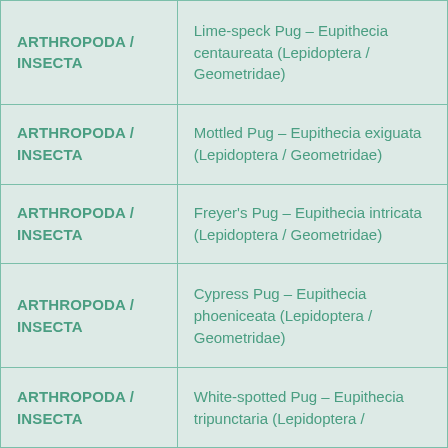| Phylum / Class | Species |
| --- | --- |
| ARTHROPODA / INSECTA | Lime-speck Pug – Eupithecia centaureata (Lepidoptera / Geometridae) |
| ARTHROPODA / INSECTA | Mottled Pug – Eupithecia exiguata (Lepidoptera / Geometridae) |
| ARTHROPODA / INSECTA | Freyer's Pug – Eupithecia intricata (Lepidoptera / Geometridae) |
| ARTHROPODA / INSECTA | Cypress Pug – Eupithecia phoeniceata (Lepidoptera / Geometridae) |
| ARTHROPODA / INSECTA | White-spotted Pug – Eupithecia tripunctaria (Lepidoptera /  |